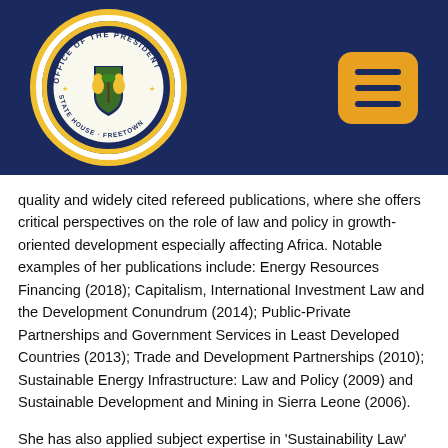[Figure (logo): Office of the President, State House Freetown seal/logo on dark navy blue header background, with a hamburger menu button in orange on the right]
quality and widely cited refereed publications, where she offers critical perspectives on the role of law and policy in growth-oriented development especially affecting Africa. Notable examples of her publications include: Energy Resources Financing (2018); Capitalism, International Investment Law and the Development Conundrum (2014); Public-Private Partnerships and Government Services in Least Developed Countries (2013); Trade and Development Partnerships (2010); Sustainable Energy Infrastructure: Law and Policy (2009) and Sustainable Development and Mining in Sierra Leone (2006).
She has also applied subject expertise in 'Sustainability Law' and developed e-learning courses on the Right to Development